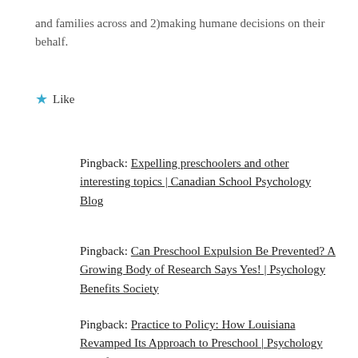and families across and 2)making humane decisions on their behalf.
★ Like
Pingback: Expelling preschoolers and other interesting topics | Canadian School Psychology Blog
Pingback: Can Preschool Expulsion Be Prevented? A Growing Body of Research Says Yes! | Psychology Benefits Society
Pingback: Practice to Policy: How Louisiana Revamped Its Approach to Preschool | Psychology Benefits Society